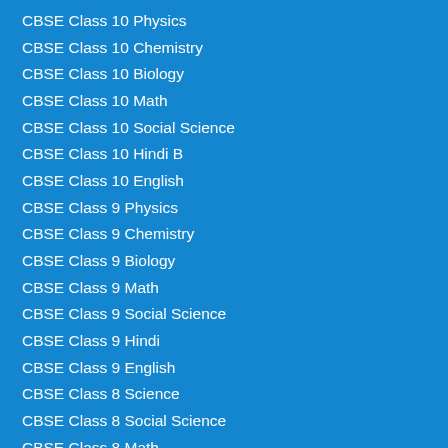CBSE Class 10 Physics
CBSE Class 10 Chemistry
CBSE Class 10 Biology
CBSE Class 10 Math
CBSE Class 10 Social Science
CBSE Class 10 Hindi B
CBSE Class 10 English
CBSE Class 9 Physics
CBSE Class 9 Chemistry
CBSE Class 9 Biology
CBSE Class 9 Math
CBSE Class 9 Social Science
CBSE Class 9 Hindi
CBSE Class 9 English
CBSE Class 8 Science
CBSE Class 8 Social Science
CBSE Class 8 Math